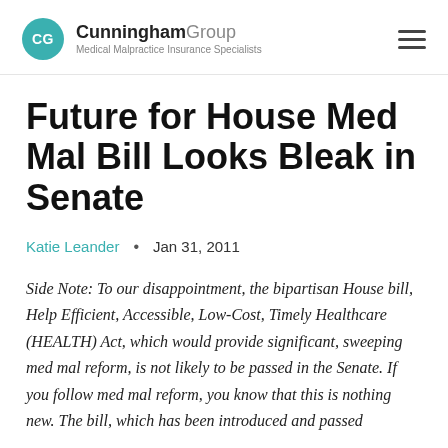CG Cunningham Group Medical Malpractice Insurance Specialists
Future for House Med Mal Bill Looks Bleak in Senate
Katie Leander · Jan 31, 2011
Side Note: To our disappointment, the bipartisan House bill, Help Efficient, Accessible, Low-Cost, Timely Healthcare (HEALTH) Act, which would provide significant, sweeping med mal reform, is not likely to be passed in the Senate. If you follow med mal reform, you know that this is nothing new. The bill, which has been introduced and passed